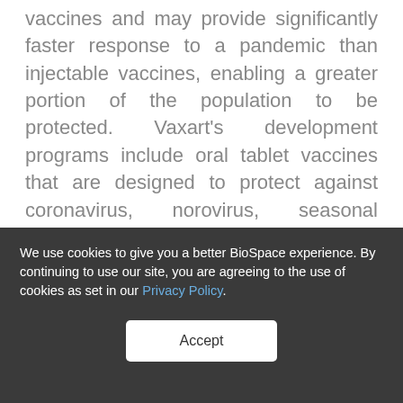vaccines and may provide significantly faster response to a pandemic than injectable vaccines, enabling a greater portion of the population to be protected. Vaxart's development programs include oral tablet vaccines that are designed to protect against coronavirus, norovirus, seasonal influenza and respiratory syncytial virus (RSV), as well as a therapeutic vaccine for human papillomavirus (HPV). For more information, please visit www.vaxart.com
We use cookies to give you a better BioSpace experience. By continuing to use our site, you are agreeing to the use of cookies as set in our Privacy Policy.